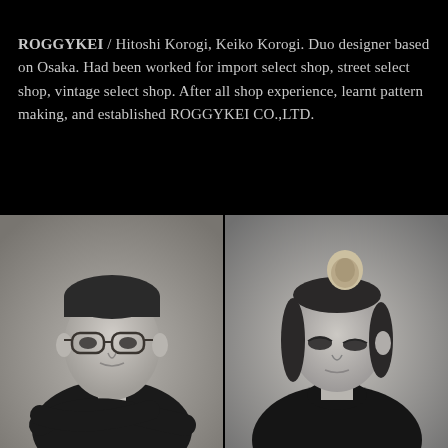ROGGYKEI / Hitoshi Korogi, Keiko Korogi. Duo designer based on Osaka. Had been worked for import select shop, street select shop, vintage select shop. After all shop experience, learnt pattern making, and established ROGGYKEI CO.,LTD.
[Figure (photo): Black and white portrait photograph of two people side by side. Left: a man wearing glasses and a black shirt with a white horizontal stripe, arms crossed. Right: a woman in a black high-neck top with hair in a top bun, eyes slightly downcast.]